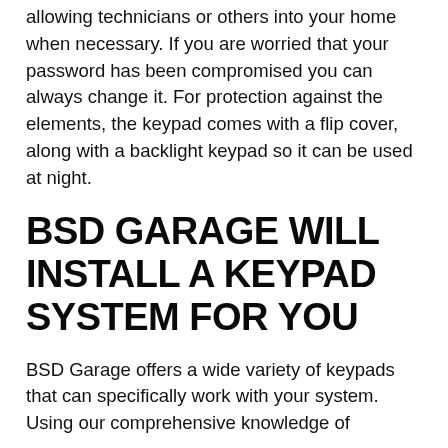allowing technicians or others into your home when necessary. If you are worried that your password has been compromised you can always change it. For protection against the elements, the keypad comes with a flip cover, along with a backlight keypad so it can be used at night.
BSD GARAGE WILL INSTALL A KEYPAD SYSTEM FOR YOU
BSD Garage offers a wide variety of keypads that can specifically work with your system. Using our comprehensive knowledge of